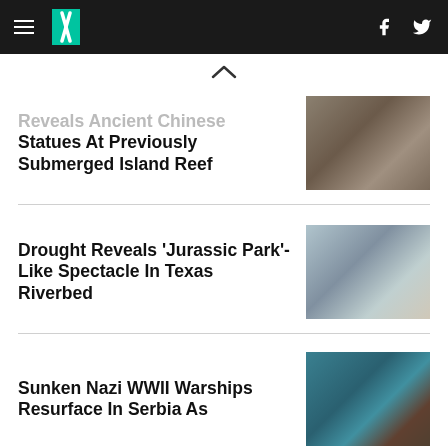HuffPost navigation with hamburger menu, logo, Facebook and Twitter icons
Reveals Ancient Chinese Statues At Previously Submerged Island Reef
[Figure (photo): Rock-carved ancient Chinese statues in cliff niches]
Drought Reveals 'Jurassic Park'-Like Spectacle In Texas Riverbed
[Figure (photo): Large dinosaur footprint impression in dried cracked riverbed mud with a measuring stick]
Sunken Nazi WWII Warships Resurface In Serbia As
[Figure (photo): Partially submerged WWII warship ruins in blue water]